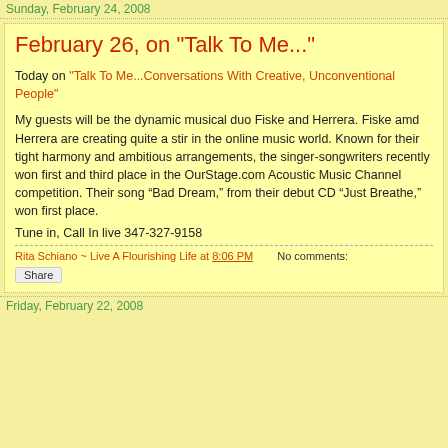Sunday, February 24, 2008
February 26, on "Talk To Me..."
Today on "Talk To Me...Conversations With Creative, Unconventional People"
My guests will be the dynamic musical duo Fiske and Herrera. Fiske amd Herrera are creating quite a stir in the online music world. Known for their tight harmony and ambitious arrangements, the singer-songwriters recently won first and third place in the OurStage.com Acoustic Music Channel competition. Their song “Bad Dream,” from their debut CD “Just Breathe,” won first place.
Tune in, Call In live 347-327-9158
Rita Schiano ~ Live A Flourishing Life at 8:06 PM    No comments:
Share
Friday, February 22, 2008